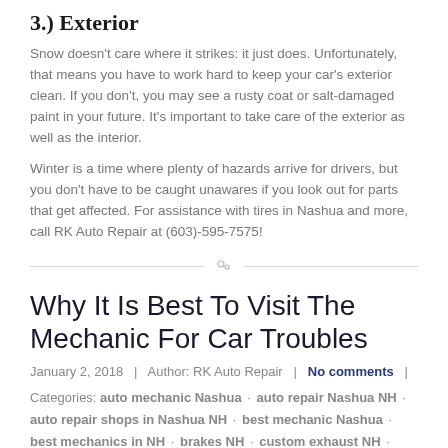3.) Exterior
Snow doesn't care where it strikes: it just does. Unfortunately, that means you have to work hard to keep your car's exterior clean. If you don't, you may see a rusty coat or salt-damaged paint in your future. It's important to take care of the exterior as well as the interior.
Winter is a time where plenty of hazards arrive for drivers, but you don't have to be caught unawares if you look out for parts that get affected. For assistance with tires in Nashua and more, call RK Auto Repair at (603)-595-7575!
Why It Is Best To Visit The Mechanic For Car Troubles
January 2, 2018  |  Author: RK Auto Repair  |  No comments  |  Categories: auto mechanic Nashua · auto repair Nashua NH · auto repair shops in Nashua NH · best mechanic Nashua · best mechanics in NH · brakes NH · custom exhaust NH · mechanic Nashua NH · RK Auto Repair · RK Auto Repair LLC ·